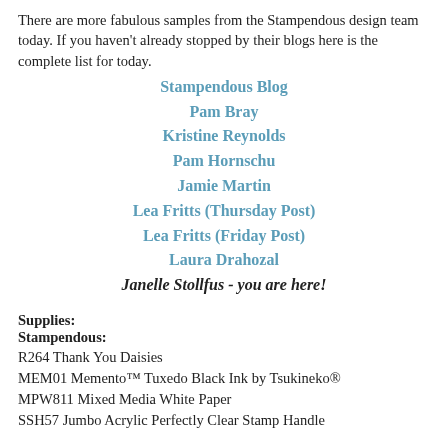There are more fabulous samples from the Stampendous design team today. If you haven't already stopped by their blogs here is the complete list for today.
Stampendous Blog
Pam Bray
Kristine Reynolds
Pam Hornschu
Jamie Martin
Lea Fritts (Thursday Post)
Lea Fritts (Friday Post)
Laura Drahozal
Janelle Stollfus - you are here!
Supplies:
Stampendous:
R264 Thank You Daisies
MEM01 Memento™ Tuxedo Black Ink by Tsukineko®
MPW811 Mixed Media White Paper
SSH57 Jumbo Acrylic Perfectly Clear Stamp Handle